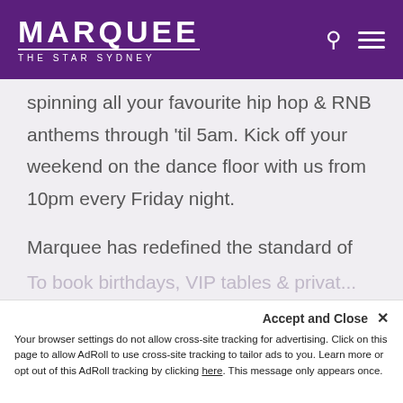MARQUEE THE STAR SYDNEY
spinning all your favourite hip hop & RNB anthems through 'til 5am. Kick off your weekend on the dance floor with us from 10pm every Friday night.
Marquee has redefined the standard of hospitality in Sydney, quickly establishing itself as the number one celebrity party destination. Take your RNB Fridays experience to the next level with Marquee's legendary VIP table & bottle service.
To book birthdays, VIP tables & privat…
Accept and Close ✕
Your browser settings do not allow cross-site tracking for advertising. Click on this page to allow AdRoll to use cross-site tracking to tailor ads to you. Learn more or opt out of this AdRoll tracking by clicking here. This message only appears once.